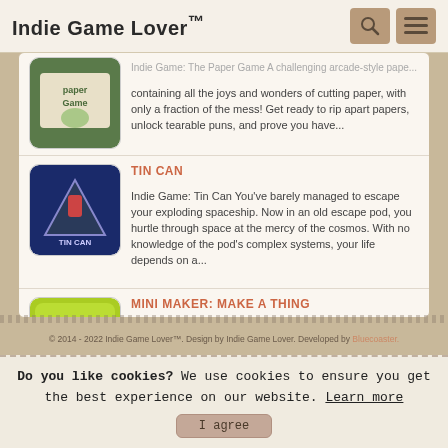Indie Game Lover™
[Figure (screenshot): Paper Game thumbnail - green colored game logo]
containing all the joys and wonders of cutting paper, with only a fraction of the mess! Get ready to rip apart papers, unlock tearable puns, and prove you have...
TIN CAN
[Figure (screenshot): Tin Can game thumbnail - dark space themed logo with triangle spaceship]
Indie Game: Tin Can You've barely managed to escape your exploding spaceship. Now in an old escape pod, you hurtle through space at the mercy of the cosmos. With no knowledge of the pod's complex systems, your life depends on a...
MINI MAKER: MAKE A THING
[Figure (screenshot): Mini Maker: Make A Thing game thumbnail - colorful yellow/green logo]
Indie Game: Mini Maker: Make A Thing A hero thing, a monster thing, a robo thing... in Mini Maker, you can make any 'thing'! Use an arsenal of plastic limbs, wonky tools, rainbow stickers and googly eyes to assemble creations, please...
© 2014 - 2022 Indie Game Lover™. Design by Indie Game Lover. Developed by Bluecoaster.
Do you like cookies? We use cookies to ensure you get the best experience on our website. Learn more  I agree